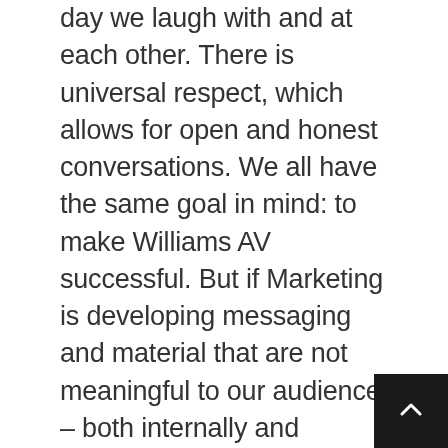day we laugh with and at each other. There is universal respect, which allows for open and honest conversations. We all have the same goal in mind: to make Williams AV successful. But if Marketing is developing messaging and material that are not meaningful to our audiences – both internally and externally – then even the best marketing work will be wasted. I rely on the Sales team to share their insights with me so we understand our customers' challenges and needs and how we can communicate Williams AV provides the solutions. Sales knows our customers best – they talk to them, help